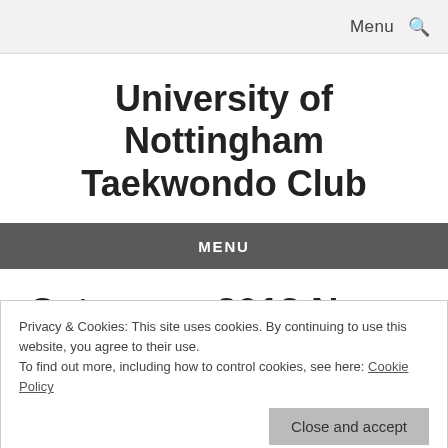Menu  🔍
University of Nottingham Taekwondo Club
MENU
Category: 2012 News
Privacy & Cookies: This site uses cookies. By continuing to use this website, you agree to their use.
To find out more, including how to control cookies, see here: Cookie Policy
Close and accept
14
DEC
isloMag